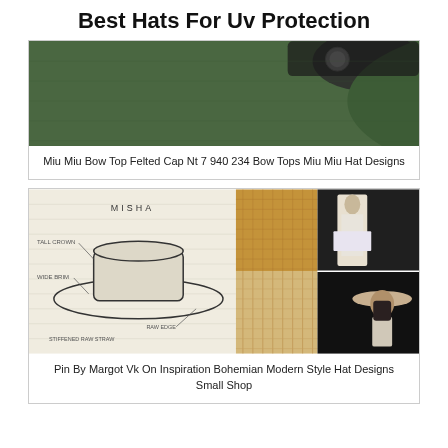Best Hats For Uv Protection
[Figure (photo): Close-up photo of a green felted cap with dark brim and decorative pin]
Miu Miu Bow Top Felted Cap Nt 7 940 234 Bow Tops Miu Miu Hat Designs
[Figure (photo): Collage of hat design sketch labeled MISHA with annotations (TALL CROWN, WIDE BRIM, STIFFENED RAW STRAW, RAW EDGE), woven straw fabric samples, and two photos of a woman wearing a wide-brim white/cream hat]
Pin By Margot Vk On Inspiration Bohemian Modern Style Hat Designs Small Shop